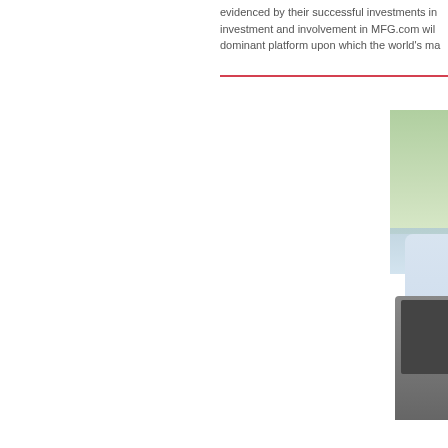evidenced by their successful investments in... investment and involvement in MFG.com will... dominant platform upon which the world's ma...
[Figure (photo): A man wearing sunglasses and a light blue striped shirt sitting outdoors with a laptop, hands pressed together, smiling, with green foliage in the background]